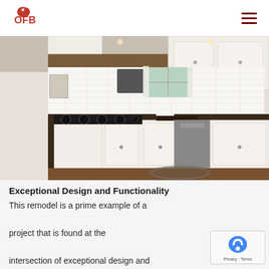OFB logo and navigation menu
[Figure (photo): Kitchen remodel photo showing white shaker cabinets, dark granite countertops, subway tile backsplash, stainless steel appliances, gas stovetop, and a patterned area rug on hardwood floors.]
Exceptional Design and Functionality
This remodel is a prime example of a project that is found at the intersection of exceptional design and exceptional functionality.